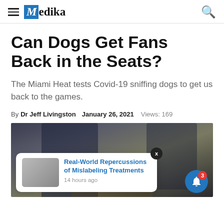Medika
Can Dogs Get Fans Back in the Seats?
The Miami Heat tests Covid-19 sniffing dogs to get us back to the games.
By Dr Jeff Livingston  January 26, 2021  Views: 169
[Figure (photo): Photo of police officers with a dog, used as article header image. An overlay notification popup shows a link to 'Real-World Repercussions of Mislabeling Treatments - 14 hours ago'.]